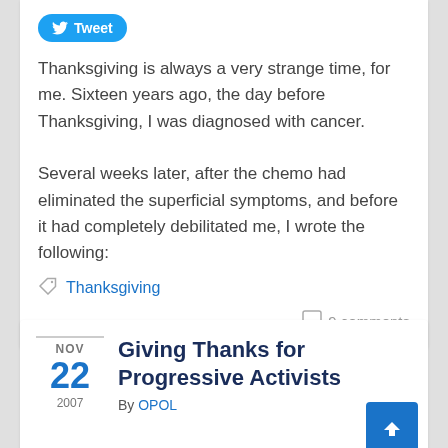[Figure (other): Twitter Tweet button with bird icon]
Thanksgiving is always a very strange time, for me. Sixteen years ago, the day before Thanksgiving, I was diagnosed with cancer.

Several weeks later, after the chemo had eliminated the superficial symptoms, and before it had completely debilitated me, I wrote the following:
Thanksgiving
9 comments
NOV 22 2007
Giving Thanks for Progressive Activists
By OPOL